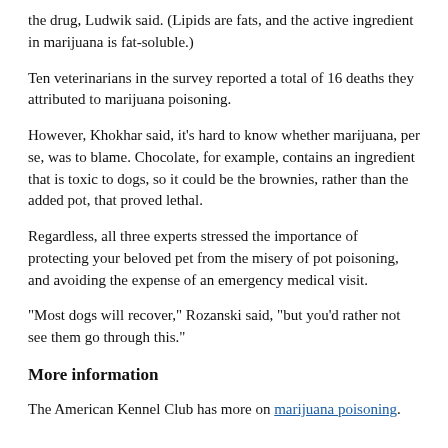the drug, Ludwik said. (Lipids are fats, and the active ingredient in marijuana is fat-soluble.)
Ten veterinarians in the survey reported a total of 16 deaths they attributed to marijuana poisoning.
However, Khokhar said, it's hard to know whether marijuana, per se, was to blame. Chocolate, for example, contains an ingredient that is toxic to dogs, so it could be the brownies, rather than the added pot, that proved lethal.
Regardless, all three experts stressed the importance of protecting your beloved pet from the misery of pot poisoning, and avoiding the expense of an emergency medical visit.
"Most dogs will recover," Rozanski said, "but you'd rather not see them go through this."
More information
The American Kennel Club has more on marijuana poisoning.